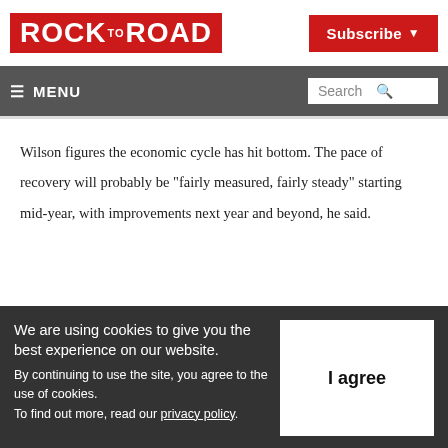ROCK TO ROAD
Subscribe
≡ MENU | Search
Wilson figures the economic cycle has hit bottom. The pace of recovery will probably be "fairly measured, fairly steady" starting mid-year, with improvements next year and beyond, he said.
We are using cookies to give you the best experience on our website.
By continuing to use the site, you agree to the use of cookies.
To find out more, read our privacy policy.